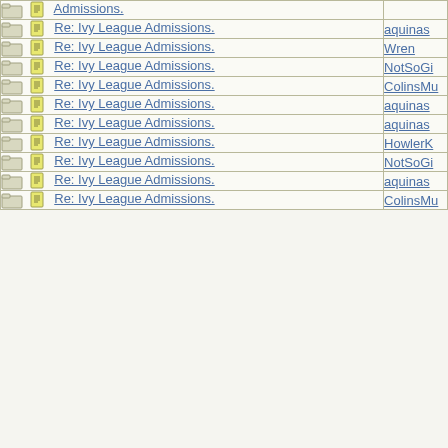| Thread | Author |
| --- | --- |
| Re: Ivy League Admissions. | aquinas |
| Re: Ivy League Admissions. | Wren |
| Re: Ivy League Admissions. | NotSoGi |
| Re: Ivy League Admissions. | ColinsMu |
| Re: Ivy League Admissions. | aquinas |
| Re: Ivy League Admissions. | aquinas |
| Re: Ivy League Admissions. | HowlerK |
| Re: Ivy League Admissions. | NotSoGi |
| Re: Ivy League Admissions. | aquinas |
| Re: Ivy League Admissions. | ColinsMu |